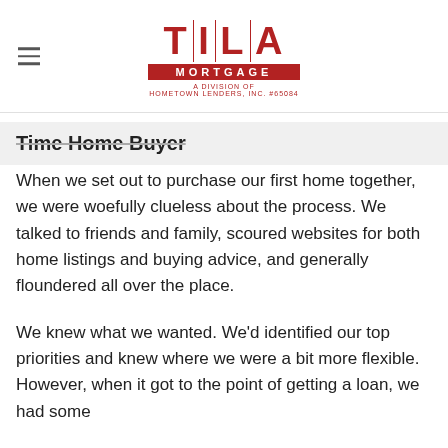[Figure (logo): TILA Mortgage logo — red letters T|I|L|A with vertical bar separators, red MORTGAGE bar, subtitle A DIVISION OF HOMETOWN LENDERS, INC. #65084]
Time Home Buyer
When we set out to purchase our first home together, we were woefully clueless about the process. We talked to friends and family, scoured websites for both home listings and buying advice, and generally floundered all over the place.
We knew what we wanted. We'd identified our top priorities and knew where we were a bit more flexible. However, when it got to the point of getting a loan, we had some